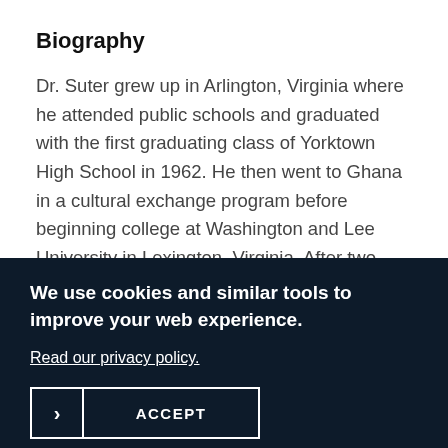Biography
Dr. Suter grew up in Arlington, Virginia where he attended public schools and graduated with the first graduating class of Yorktown High School in 1962. He then went to Ghana in a cultural exchange program before beginning college at Washington and Lee University in Lexington, Virginia. After two years at W&L, he transferred to the Massachusetts Institute of Technology where he studied Electrical Engineering. Following graduation, he took additional graduate studies at Georgetown University before joining the US Navy in 1968. He served as a junior officer in the Navy aboard the guided missile cruiser USS Albany until the
We use cookies and similar tools to improve your web experience.
Read our privacy policy.
> ACCEPT